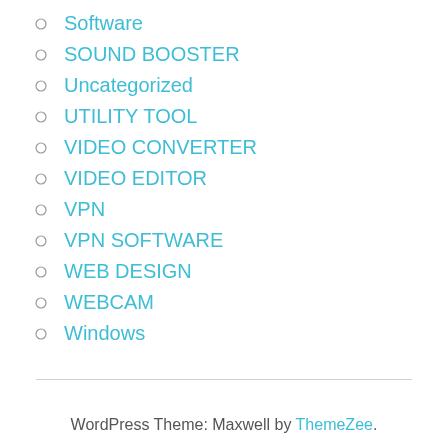Software
SOUND BOOSTER
Uncategorized
UTILITY TOOL
VIDEO CONVERTER
VIDEO EDITOR
VPN
VPN SOFTWARE
WEB DESIGN
WEBCAM
Windows
WordPress Theme: Maxwell by ThemeZee.